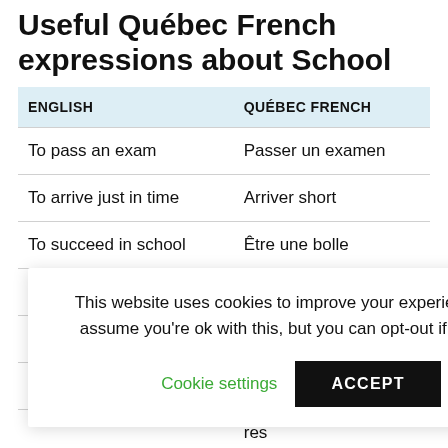Useful Québec French expressions about School
| ENGLISH | QUÉBEC FRENCH |
| --- | --- |
| To pass an exam | Passer un examen |
| To arrive just in time | Arriver short |
| To succeed in school | Être une bolle |
| To skip class | Foxer l'école |
| [partially hidden] | [partially hidden] rage |
| [partially hidden] | [partially hidden] sère |
| [partially hidden] | [partially hidden] res |
| To sharpen a pencil | Aiguiser un crayon |
This website uses cookies to improve your experience. We'll assume you're ok with this, but you can opt-out if you wish.
Cookie settings   ACCEPT